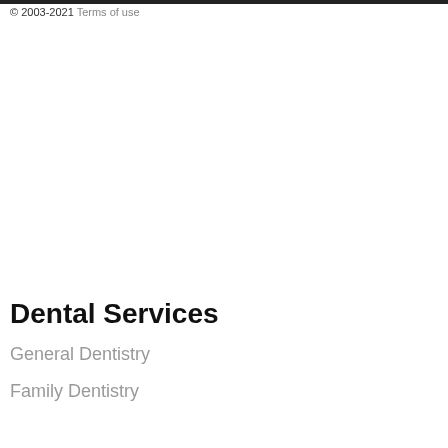© 2003-2021 Terms of use
Dental Services
General Dentistry
Family Dentistry